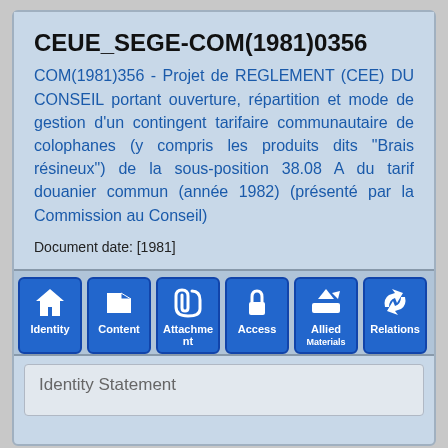CEUE_SEGE-COM(1981)0356
COM(1981)356 - Projet de REGLEMENT (CEE) DU CONSEIL portant ouverture, répartition et mode de gestion d'un contingent tarifaire communautaire de colophanes (y compris les produits dits "Brais résineux") de la sous-position 38.08 A du tarif douanier commun (année 1982) (présenté par la Commission au Conseil)
Document date: [1981]
[Figure (infographic): Navigation bar with 6 blue icon buttons: Identity (house icon), Content (folder icon), Attachments (paperclip icon), Access (lock icon), Allied Materials (arrow icon), Relations (recycle/loop icon)]
Identity Statement